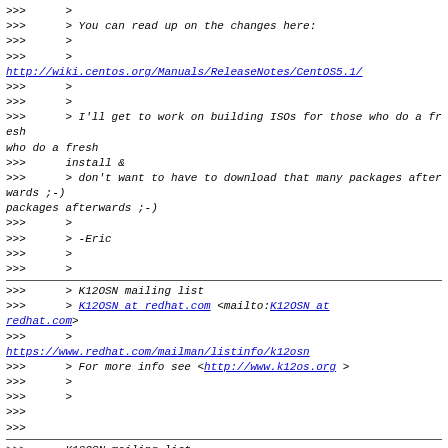>>> >
>>> > You can read up on the changes here:
>>> >
>>> >
http://wiki.centos.org/Manuals/ReleaseNotes/CentOS5.1/
>>> >
>>> >
>>> > I'll get to work on building ISOs for those who do a fresh
>>> install &
>>> > don't want to have to download that many packages afterwards ;-)
>>> >
>>> > -Eric
>>> >
>>> >
___________________________________________
>>> > K12OSN mailing list
>>> > K12OSN at redhat.com <mailto:K12OSN at redhat.com>
>>> >
https://www.redhat.com/mailman/listinfo/k12osn
>>> > For more info see <http://www.k12os.org> >
>>> >
>>> >
>>>
>>>
___________________________________________
>>> K12OSN mailing list
>>> K12OSN at redhat.com <mailto:K12OSN at redhat.com>